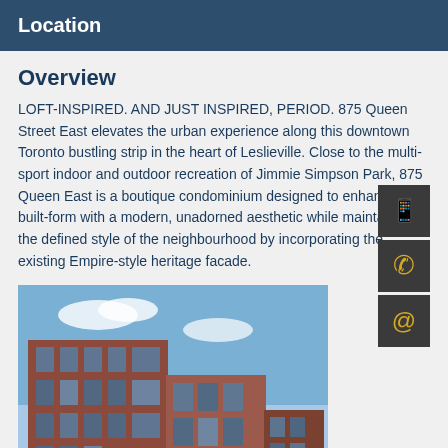Location
Overview
LOFT-INSPIRED. AND JUST INSPIRED, PERIOD. 875 Queen Street East elevates the urban experience along this downtown Toronto bustling strip in the heart of Leslieville. Close to the multi-sport indoor and outdoor recreation of Jimmie Simpson Park, 875 Queen East is a boutique condominium designed to enhance the built-form with a modern, unadorned aesthetic while maintaining the defined style of the neighbourhood by incorporating the existing Empire-style heritage facade.
[Figure (photo): Exterior photo of 875 Queen Street East condominium building, a modern brick building with large windows against a blue sky]